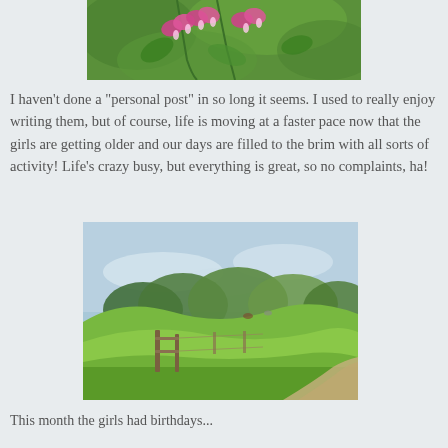[Figure (photo): Close-up photo of pink bleeding heart flowers (Lamprocapnos spectabilis) hanging from stems with green foliage in the background.]
I haven't done a "personal post" in so long it seems.  I used to really enjoy writing them, but of course, life is moving at a faster pace now that the girls are getting older and our days are filled to the brim with all sorts of activity!  Life's crazy busy, but everything is great, so no complaints, ha!
[Figure (photo): Outdoor rural landscape photo showing a green grassy field with a wooden fence post in the foreground, trees in the background, and a dirt path on the right side under a partly cloudy sky.]
This month the girls had birthdays...